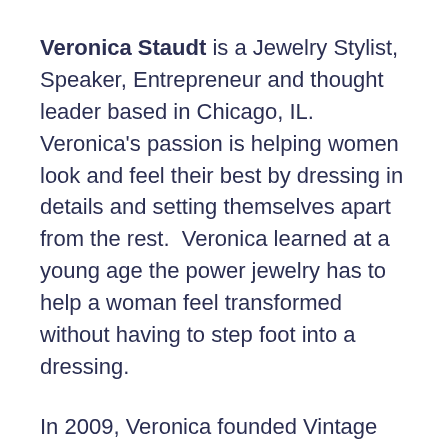Veronica Staudt is a Jewelry Stylist, Speaker, Entrepreneur and thought leader based in Chicago, IL. Veronica's passion is helping women look and feel their best by dressing in details and setting themselves apart from the rest.  Veronica learned at a young age the power jewelry has to help a woman feel transformed without having to step foot into a dressing.
In 2009, Veronica founded Vintage Meet Modern, and online and in-person pop-up vintage jewelry and styling boutique. She uses her 20 years of styling expertise to show women and even retailers how easy it was to mix vintage jewelry with modern clothes, with